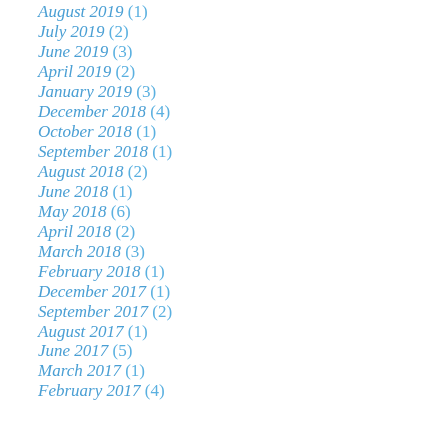August 2019 (1)
July 2019 (2)
June 2019 (3)
April 2019 (2)
January 2019 (3)
December 2018 (4)
October 2018 (1)
September 2018 (1)
August 2018 (2)
June 2018 (1)
May 2018 (6)
April 2018 (2)
March 2018 (3)
February 2018 (1)
December 2017 (1)
September 2017 (2)
August 2017 (1)
June 2017 (5)
March 2017 (1)
February 2017 (4)